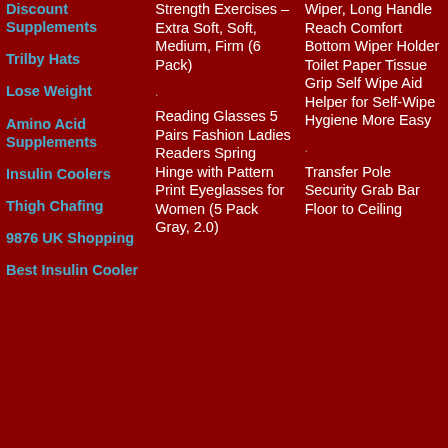Discount Supplements
Trilby Hats
Lose Weight
Amino Acid Supplements
Insulin Coolers
Thigh Chafing
9876 UK Shopping
Best Insulin Cooler
Strength Exercises – Extra Soft, Soft, Medium, Firm (6 Pack)
Reading Glasses 5 Pairs Fashion Ladies Readers Spring Hinge with Pattern Print Eyeglasses for Women (5 Pack Gray, 2.0)
Wiper, Long Handle Reach Comfort Bottom Wiper Holder Toilet Paper Tissue Grip Self Wipe Aid Helper for Self-Wipe Hygiene More Easy
Transfer Pole Security Grab Bar Floor to Ceiling